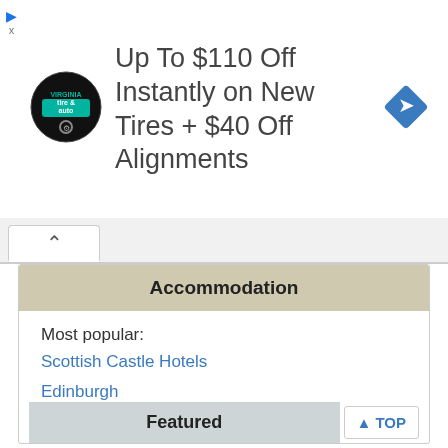[Figure (screenshot): Advertisement banner: circular tire & auto logo, text 'Up To $110 Off Instantly on New Tires + $40 Off Alignments', blue diamond navigation icon on right]
Most popular:
Scottish Castle Hotels
Edinburgh
Glasgow
Highlands
- hotels
- cottages
Featured